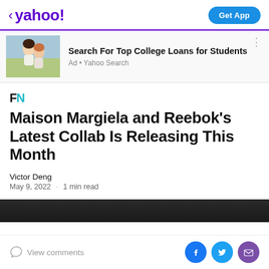< yahoo! | Get App
[Figure (photo): Two happy young women outdoors, one giving the other a piggyback ride in a field]
Search For Top College Loans for Students
Ad • Yahoo Search
[Figure (logo): FN logo - F in black, N in teal]
Maison Margiela and Reebok's Latest Collab Is Releasing This Month
Victor Deng
May 9, 2022 · 1 min read
View comments | Facebook | Twitter | Email